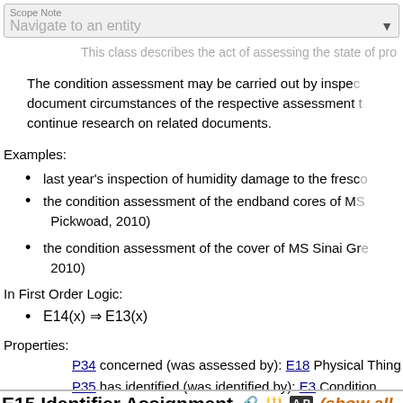Scope Note
Navigate to an entity
This class describes the act of assessing the state of pro...
The condition assessment may be carried out by inspe... document circumstances of the respective assessment ... continue research on related documents.
Examples:
last year's inspection of humidity damage to the fresc...
the condition assessment of the endband cores of MS... Pickwoad, 2010)
the condition assessment of the cover of MS Sinai Gr... 2010)
In First Order Logic:
E14(x) ⇒ E13(x)
Properties:
P34 concerned (was assessed by): E18 Physical Thing
P35 has identified (was identified by): E3 Condition Stat...
E15 Identifier Assignment (show all)
SubClass Of: